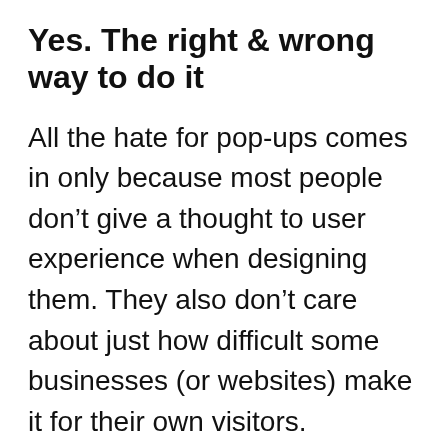Yes. The right & wrong way to do it
All the hate for pop-ups comes in only because most people don’t give a thought to user experience when designing them. They also don’t care about just how difficult some businesses (or websites) make it for their own visitors.